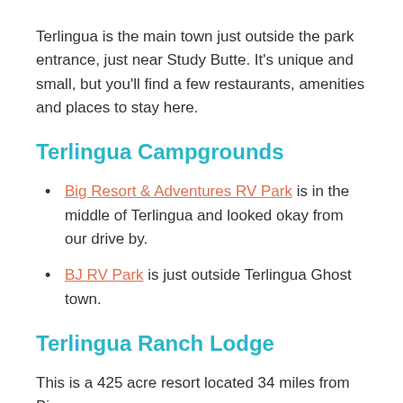Terlingua is the main town just outside the park entrance, just near Study Butte. It's unique and small, but you'll find a few restaurants, amenities and places to stay here.
Terlingua Campgrounds
Big Resort & Adventures RV Park is in the middle of Terlingua and looked okay from our drive by.
BJ RV Park is just outside Terlingua Ghost town.
Terlingua Ranch Lodge
This is a 425 acre resort located 34 miles from Big